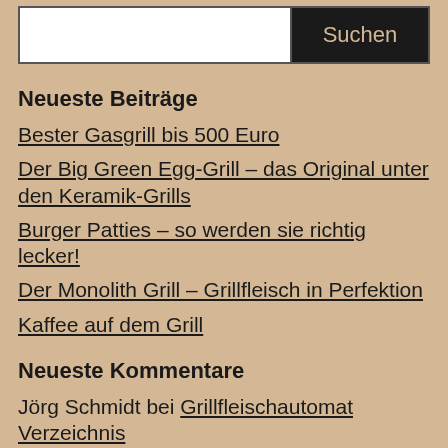[Figure (other): Search bar with white input field and black 'Suchen' button]
Neueste Beiträge
Bester Gasgrill bis 500 Euro
Der Big Green Egg-Grill – das Original unter den Keramik-Grills
Burger Patties – so werden sie richtig lecker!
Der Monolith Grill – Grillfleisch in Perfektion
Kaffee auf dem Grill
Neueste Kommentare
Jörg Schmidt bei Grillfleischautomat Verzeichnis